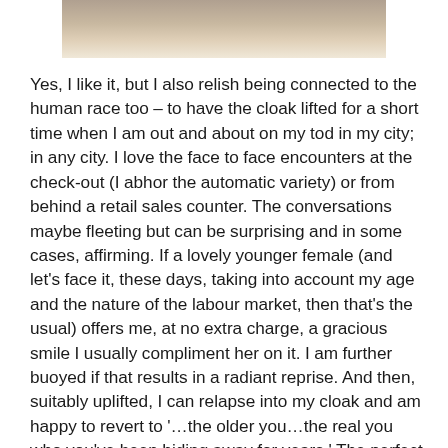[Figure (photo): Partial photo of a blonde woman, cropped at the top of the page showing only the lower portion of her face/hair area]
Yes, I like it, but I also relish being connected to the human race too – to have the cloak lifted for a short time when I am out and about on my tod in my city; in any city. I love the face to face encounters at the check-out (I abhor the automatic variety) or from behind a retail sales counter. The conversations maybe fleeting but can be surprising and in some cases, affirming. If a lovely younger female (and let's face it, these days, taking into account my age and the nature of the labour market, then that's the usual) offers me, at no extra charge, a gracious smile I usually compliment her on it. I am further buoyed if that results in a radiant reprise. And then, suitably uplifted, I can relapse into my cloak and am happy to revert to '…the older you…the real you who you've been hiding away for years.' The perfect balance.